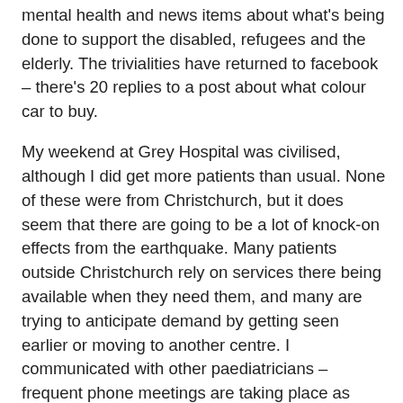mental health and news items about what's being done to support the disabled, refugees and the elderly. The trivialities have returned to facebook – there's 20 replies to a post about what colour car to buy.
My weekend at Grey Hospital was civilised, although I did get more patients than usual. None of these were from Christchurch, but it does seem that there are going to be a lot of knock-on effects from the earthquake. Many patients outside Christchurch rely on services there being available when they need them, and many are trying to anticipate demand by getting seen earlier or moving to another centre. I communicated with other paediatricians – frequent phone meetings are taking place as units around NZ fill up. There's a particular demand for Level 3 (the most intensive) baby care, and this could get worse with a number of premature births expected to be triggered by the earthquake. Midwives are among the professions being asked to volunteer to help. The situation is likely to last months and I'm worried about burnout of my colleagues.
As I step out of Auckland airport in search of a taxi home I'm